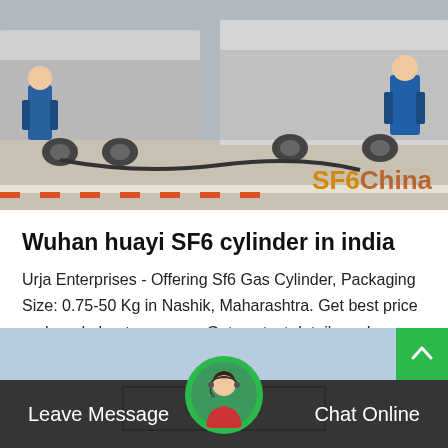[Figure (photo): Workers in blue overalls near large trucks/tankers on a loading dock area, with SF6China watermark in bottom right]
Wuhan huayi SF6 cylinder in india
Urja Enterprises - Offering Sf6 Gas Cylinder, Packaging Size: 0.75-50 Kg in Nashik, Maharashtra. Get best price and read about company. Get contact details and address | ID: 21021309912
Get Price
[Figure (photo): Bottom section showing industrial scene with chat widget avatar (woman with headset in green circle)]
Leave Message
Chat Online